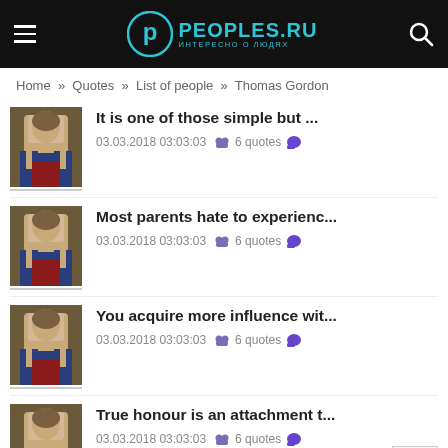PEOPLES.RU — ИНТЕРЕСНО О ЛЮДЯХ
Home » Quotes » List of people » Thomas Gordon
It is one of those simple but ... | 03.03.2018 03:03:03 | 6 quotes
Most parents hate to experienc... | 03.03.2018 03:03:03 | 6 quotes
You acquire more influence wit... | 03.03.2018 03:03:03 | 6 quotes
True honour is an attachment t... | 03.03.2018 03:03:03 | 6 quotes